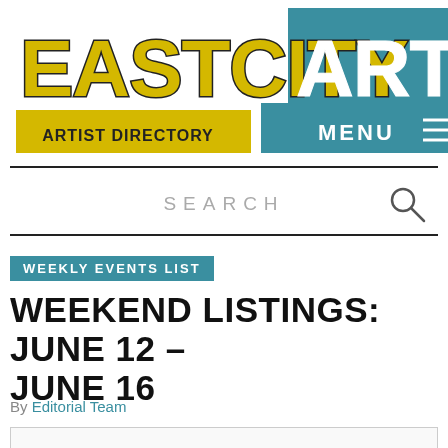[Figure (logo): EastCityArt logo in large bold uppercase letters, yellow/gold fill with dark outline for EASTCITY and white fill for ART, with a teal MENU button in upper right]
ARTIST DIRECTORY
SEARCH
WEEKLY EVENTS LIST
WEEKEND LISTINGS: JUNE 12 – JUNE 16
By Editorial Team